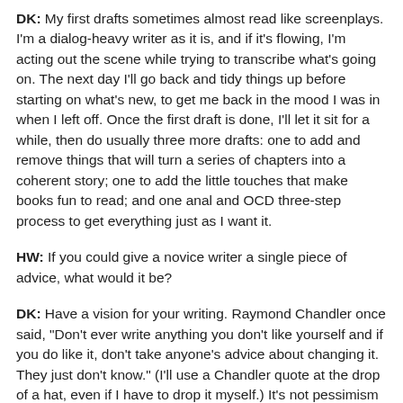DK: My first drafts sometimes almost read like screenplays. I'm a dialog-heavy writer as it is, and if it's flowing, I'm acting out the scene while trying to transcribe what's going on. The next day I'll go back and tidy things up before starting on what's new, to get me back in the mood I was in when I left off. Once the first draft is done, I'll let it sit for a while, then do usually three more drafts: one to add and remove things that will turn a series of chapters into a coherent story; one to add the little touches that make books fun to read; and one anal and OCD three-step process to get everything just as I want it.
HW: If you could give a novice writer a single piece of advice, what would it be?
DK: Have a vision for your writing. Raymond Chandler once said, "Don't ever write anything you don't like yourself and if you do like it, don't take anyone's advice about changing it. They just don't know." (I'll use a Chandler quote at the drop of a hat, even if I have to drop it myself.) It's not pessimism to note the vast majority of those who actually get a novel published—in excess of 90%--will never be more than a blip